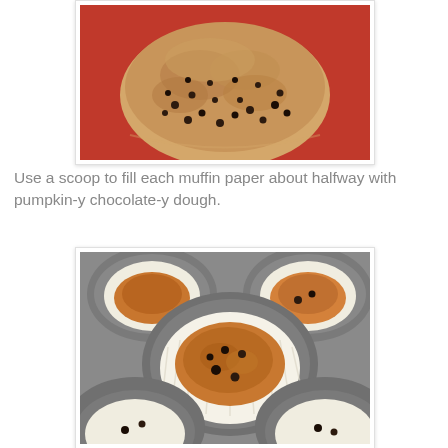[Figure (photo): Close-up overhead view of a muffin batter with chocolate chips on a red/orange plate or surface]
Use a scoop to fill each muffin paper about halfway with pumpkin-y chocolate-y dough.
[Figure (photo): A muffin tin filled with paper liners containing pumpkin chocolate chip batter, partially filled about halfway]